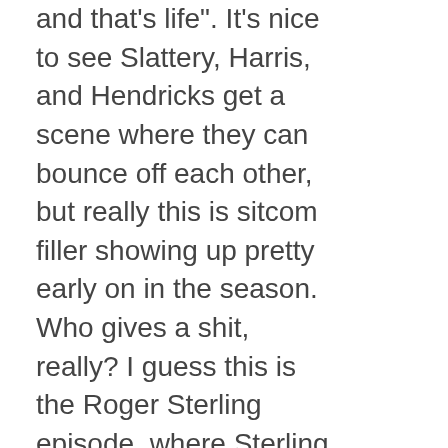and that's life". It's nice to see Slattery, Harris, and Hendricks get a scene where they can bounce off each other, but really this is sitcom filler showing up pretty early on in the season. Who gives a shit, really? I guess this is the Roger Sterling episode, where Sterling eats shit the whole episode in order to keep his Lucky Strike contract. I like Sterling, but his character is really only great as a foil for Don...